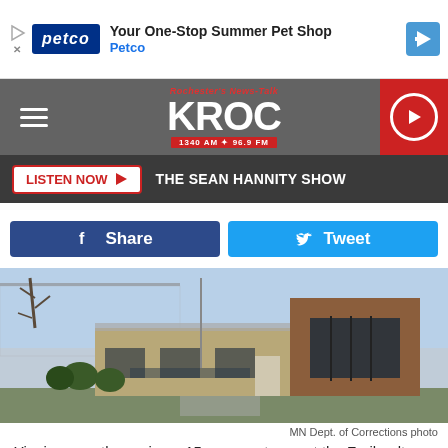[Figure (screenshot): Petco advertisement banner: 'Your One-Stop Summer Pet Shop' with Petco logo]
[Figure (logo): KROC Rochester's News-Talk radio station logo with navigation bar, hamburger menu, and play button]
LISTEN NOW ▶  THE SEAN HANNITY SHOW
[Figure (screenshot): Facebook Share and Twitter Tweet social sharing buttons]
[Figure (photo): MN Dept. of Corrections facility building exterior photo]
MN Dept. of Corrections photo
Yim is currently serving a 15-year sentence at the Faribault